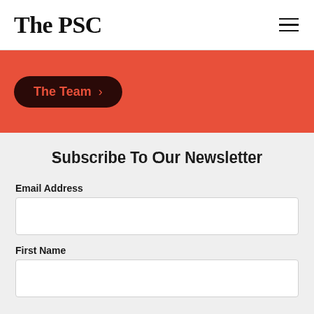The PSC
[Figure (screenshot): Red banner with a dark rounded button labeled 'The Team' with a right arrow, on an orange-red background]
Subscribe To Our Newsletter
Email Address
First Name